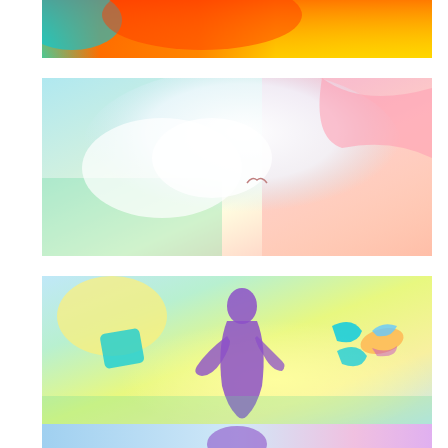[Figure (photo): Colorful abstract image strip at top - vivid rainbow gradient with orange, yellow, red, and cyan tones]
[Figure (photo): Soft pastel sky scene with white clouds, pink tones on right, green and cyan at bottom, small bird silhouette in center]
[Figure (photo): Optical flow visualization showing a person falling/jumping with purple silhouette, surrounded by cyan shapes/birds on a light yellow-green-blue gradient background]
[Figure (photo): Partial view of another colorful abstract image at bottom - light blue and pink pastel tones with a purple blob shape]